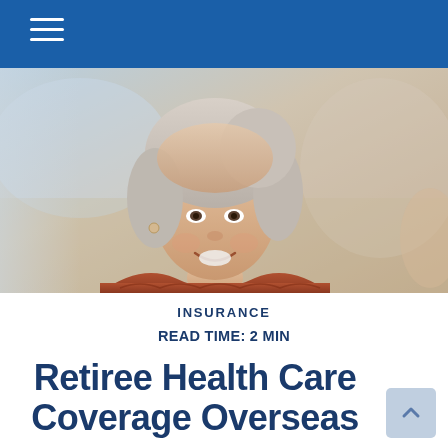[Figure (photo): Smiling older woman with gray hair wearing a rust/brown knit sweater, outdoors with a blurred background, natural warm lighting]
INSURANCE
READ TIME: 2 MIN
Retiree Health Care Coverage Overseas